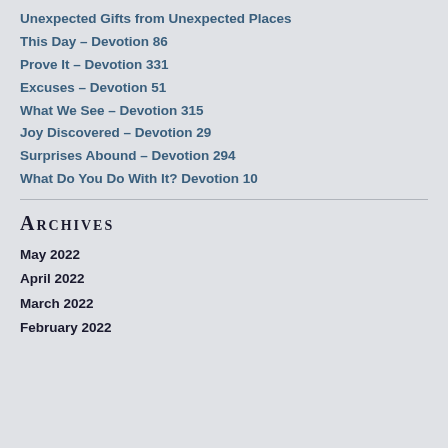Unexpected Gifts from Unexpected Places
This Day – Devotion 86
Prove It – Devotion 331
Excuses – Devotion 51
What We See – Devotion 315
Joy Discovered – Devotion 29
Surprises Abound – Devotion 294
What Do You Do With It? Devotion 10
Archives
May 2022
April 2022
March 2022
February 2022